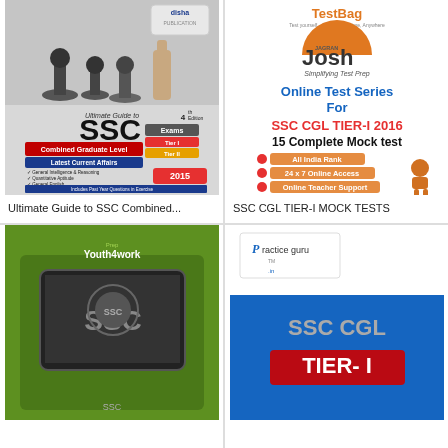[Figure (illustration): Disha publication book cover - Ultimate Guide to SSC Combined Graduate Level Exams Tier I Tier II 4th Edition with chess pieces image]
Ultimate Guide to SSC Combined...
Rs. 392    Rs. 560
[Figure (illustration): Jagran Josh / TestBag Online Test Series for SSC CGL TIER-I 2016, 15 Complete Mock test with bullet points: All India Rank, 24x7 Online Access, Online Teacher Support, Improve Your Time Management]
SSC CGL TIER-I MOCK TESTS
Rs. 200    Rs. 600
[Figure (illustration): Youth4work Prep book cover with SSC logo on tablet]
[Figure (illustration): Practice Guru book cover - SSC CGL TIER-I]